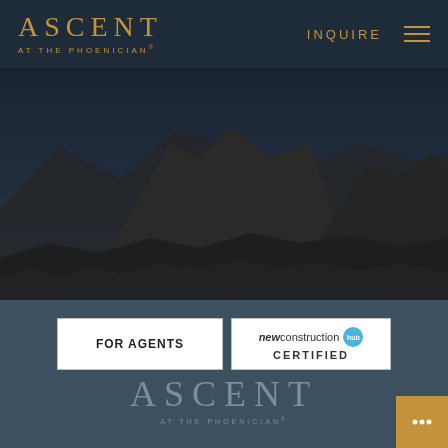[Figure (logo): Ascent at The Phoenician logo in gold on dark navy header bar]
INQUIRE
[Figure (photo): Aerial panoramic photo of desert mountain landscape with dark overlay]
[Figure (infographic): FOR AGENTS button and New Construction Hub Certified badge]
[Figure (logo): Ascent at The Phoenician secondary logo in muted blue-grey at bottom]